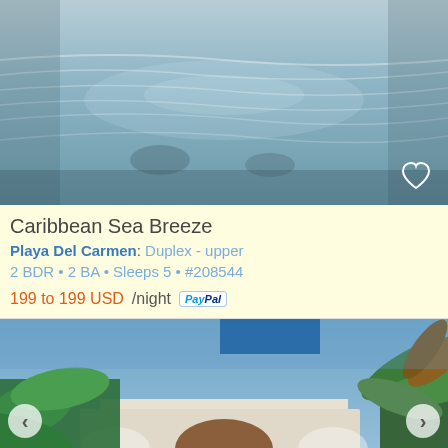[Figure (photo): Pool photo with rippled water surface, view from above, light blue-grey tones]
Caribbean Sea Breeze
Playa Del Carmen: Duplex - upper
2 BDR • 2 BA • Sleeps 5 • #208544
199 to 199 USD/night [PayPal]
[Figure (photo): Exterior photo of a white stucco building with arched doorway and tropical plants including palms and colorful flowers]